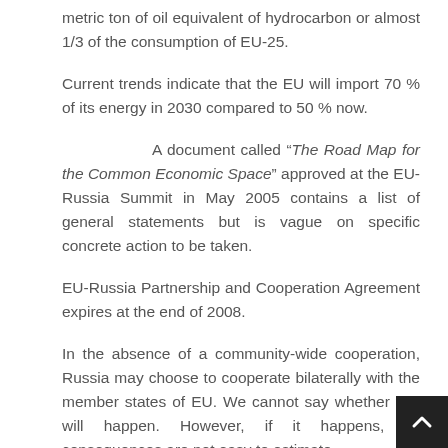metric ton of oil equivalent of hydrocarbon or almost 1/3 of the consumption of EU-25.
Current trends indicate that the EU will import 70 % of its energy in 2030 compared to 50 % now.
A document called “The Road Map for the Common Economic Space” approved at the EU-Russia Summit in May 2005 contains a list of general statements but is vague on specific concrete action to be taken.
EU-Russia Partnership and Cooperation Agreement expires at the end of 2008.
In the absence of a community-wide cooperation, Russia may choose to cooperate bilaterally with the member states of EU. We cannot say whether this will happen. However, if it happens, its consequences are not easy to estimate.
In addition to these uncertainties, the Caspian Sea basin emerging as an important energy source for oil and natural g